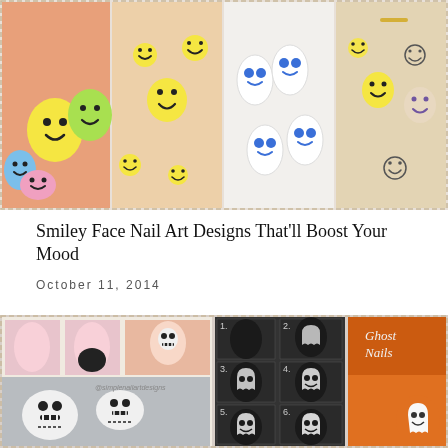[Figure (photo): Collage of four photos showing smiley face nail art designs on hands. Left: colorful nails with yellow, blue, pink smiley faces on orange skin. Center-left: nude/beige nails with yellow smiley faces. Center-right: white nails with blue smiley dot faces. Right: nude nails with various smiley face designs including yellow and purple/lavender smileys.]
Smiley Face Nail Art Designs That'll Boost Your Mood
October 11, 2014
[Figure (photo): Collage of Halloween nail art photos. Left side shows step-by-step skull nail art tutorial on light pink nails with black skull designs and stitches. Center shows black nails with ghost designs in a 6-step tutorial grid. Right side shows orange nails with a white ghost design labeled 'Ghost Nails'.]